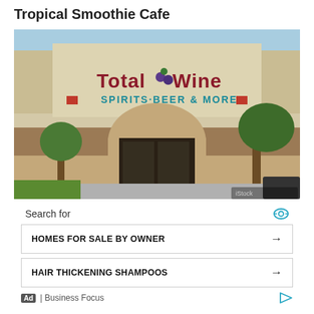Tropical Smoothie Cafe
[Figure (photo): Exterior photo of a Total Wine & More store. The storefront shows a large sign reading 'Total Wine' in red and blue letters with a grape cluster logo, and below it 'SPIRITS·BEER & MORE' in teal letters. The building is beige/tan with brick accents and an arched entrance.]
Search for
HOMES FOR SALE BY OWNER →
HAIR THICKENING SHAMPOOS →
Ad | Business Focus